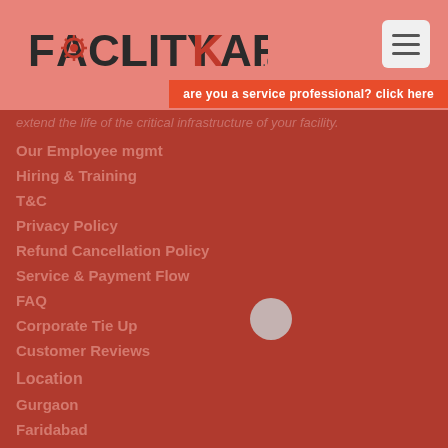[Figure (logo): FacilityKart.com logo with gear/cog in letter A]
are you a service professional? click here
extend the life of the critical infrastructure of your facility.
Our Employee mgmt
Hiring & Training
T&C
Privacy Policy
Refund Cancellation Policy
Service & Payment Flow
FAQ
Corporate Tie Up
Customer Reviews
Location
Gurgaon
Faridabad
Delhi